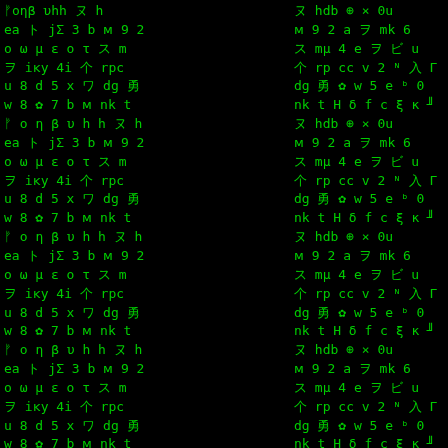[Figure (other): Green matrix-style characters on black background, left panel]
liquor store. He hated pants, the concussive, suffocating feeling of fabric on his lower body, a crawling itch that reminded him of the raking annoyance of seaweed and floating plastic scrap. The small bungalow sitting on the lip of the hill past the dock was his, empty except for a queen-size bed in the
[Figure (other): Green matrix-style characters on black background, right panel]